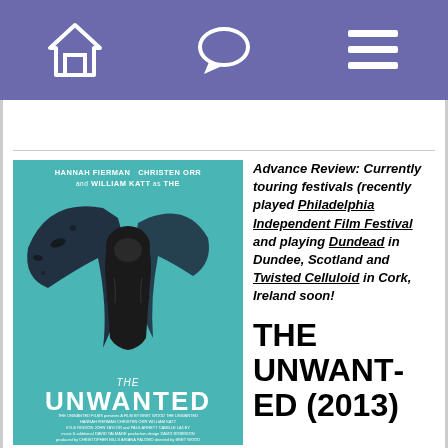Navigation header with home, chat, and menu icons
[Figure (photo): Movie poster for The Unwanted (2013) featuring a hooded figure with dark wings on a teal background. Text reads: HANNAH FIERMAN CHRISTEN ORR and WILLIAM KATT as THE. Bottom text says THE UNWANTED.]
Advance Review: Currently touring festivals (recently played Philadelphia Independent Film Festival and playing Dundead in Dundee, Scotland and Twisted Celluloid in Cork, Ireland soon!
THE UNWANTED (2013)